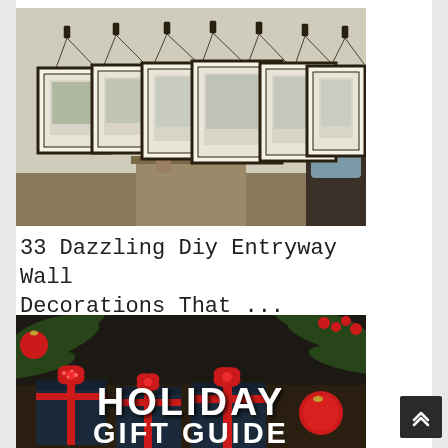[Figure (photo): A bedroom wall with multiple framed photos hanging from hooks on chains/wires in a staggered arrangement, with a lamp and flowers on a bedside table below]
33 Dazzling Diy Entryway Wall Decorations That ...
[Figure (photo): Holiday gift guide image showing dark gift boxes with red ribbons and bows surrounded by pine branches and red ornaments, with text HOLIDAY GIFT GUIDE overlaid in white bold letters]